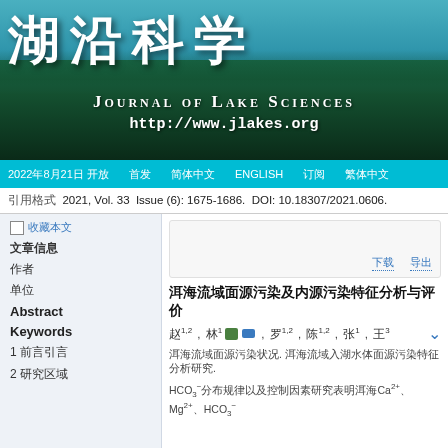[Figure (photo): Journal of Lake Sciences header banner with Chinese title, English subtitle 'JOURNAL OF LAKE SCIENCES', URL 'http://www.jlakes.org', and mountain lake background with evergreen trees]
2022年8月21日 开放 首发 简体 ENGLISH 订阅 繁体
引用格式 2021, Vol. 33 Issue (6): 1675-1686. DOI: 10.18307/2021.0606.
收藏本文 下载PDF 导入文献管理
上一篇 下一篇
文章信息
作者
单位
Abstract
Keywords
1 前言引言
2 研究区域
洱海流域面源污染及内源污染特征分析与评价
赵1,2 , 林1 , 罗1,2 , 陈1,2 , 张1 , 王3
洱海流域面源污染状况. 洱海流域入湖水体面源污染特征分析研究. HCO3⁻分布规律以及控制因素研究表明洱海Ca2+、Mg2+、HCO3⁻